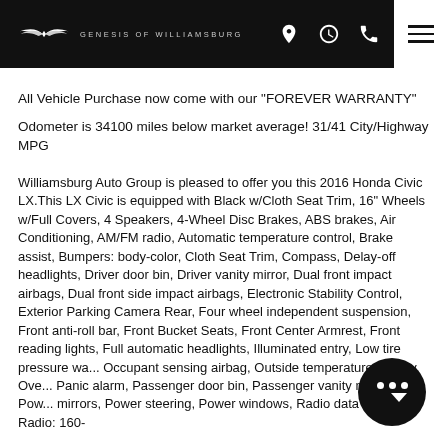GENESIS OF WILLIAMSBURG
All Vehicle Purchase now come with our "FOREVER WARRANTY"
Odometer is 34100 miles below market average! 31/41 City/Highway MPG
Williamsburg Auto Group is pleased to offer you this 2016 Honda Civic LX.This LX Civic is equipped with Black w/Cloth Seat Trim, 16" Wheels w/Full Covers, 4 Speakers, 4-Wheel Disc Brakes, ABS brakes, Air Conditioning, AM/FM radio, Automatic temperature control, Brake assist, Bumpers: body-color, Cloth Seat Trim, Compass, Delay-off headlights, Driver door bin, Driver vanity mirror, Dual front impact airbags, Dual front side impact airbags, Electronic Stability Control, Exterior Parking Camera Rear, Four wheel independent suspension, Front anti-roll bar, Front Bucket Seats, Front Center Armrest, Front reading lights, Full automatic headlights, Illuminated entry, Low tire pressure warning, Occupant sensing airbag, Outside temperature display, Overhead console, Panic alarm, Passenger door bin, Passenger vanity mirror, Power mirrors, Power steering, Power windows, Radio data system, Radio: 160-